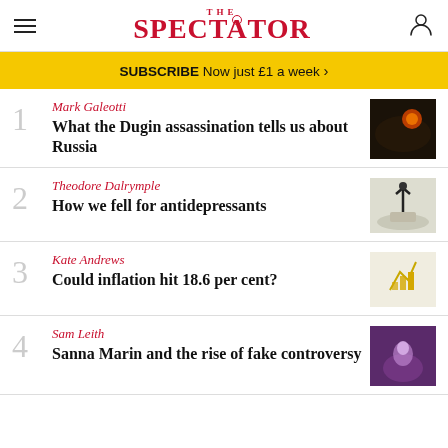The Spectator
SUBSCRIBE Now just £1 a week >
1 Mark Galeotti — What the Dugin assassination tells us about Russia
2 Theodore Dalrymple — How we fell for antidepressants
3 Kate Andrews — Could inflation hit 18.6 per cent?
4 Sam Leith — Sanna Marin and the rise of fake controversy